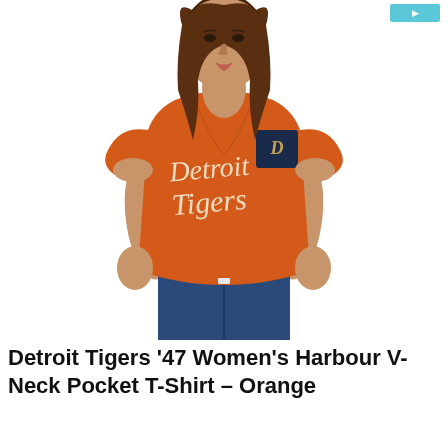[Figure (photo): A woman wearing an orange Detroit Tigers '47 V-neck pocket t-shirt with 'Detroit Tigers' in script lettering on the front and a dark navy pocket with the Tigers logo. She is also wearing dark blue jeans. The background is white.]
Detroit Tigers '47 Women's Harbour V-Neck Pocket T-Shirt – Orange